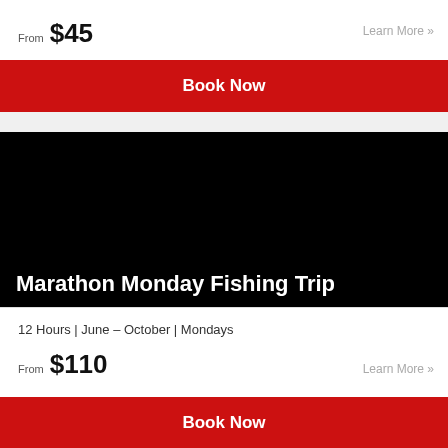From $45
Learn More »
Book Now
[Figure (photo): Black image area for Marathon Monday Fishing Trip]
Marathon Monday Fishing Trip
12 Hours | June – October | Mondays
From $110
Learn More »
Book Now